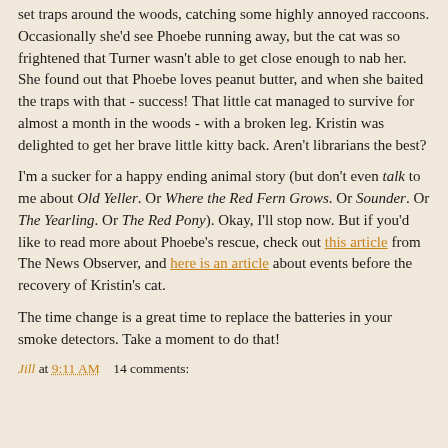...Phoebe the list of other cats that she was looking for. She set traps around the woods, catching some highly annoyed raccoons. Occasionally she'd see Phoebe running away, but the cat was so frightened that Turner wasn't able to get close enough to nab her. She found out that Phoebe loves peanut butter, and when she baited the traps with that - success! That little cat managed to survive for almost a month in the woods - with a broken leg. Kristin was delighted to get her brave little kitty back. Aren't librarians the best?
I'm a sucker for a happy ending animal story (but don't even talk to me about Old Yeller. Or Where the Red Fern Grows. Or Sounder. Or The Yearling. Or The Red Pony). Okay, I'll stop now. But if you'd like to read more about Phoebe's rescue, check out this article from The News Observer, and here is an article about events before the recovery of Kristin's cat.
The time change is a great time to replace the batteries in your smoke detectors. Take a moment to do that!
Jill at 9:11 AM    14 comments: